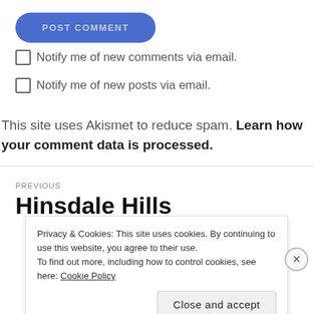POST COMMENT (button)
Notify me of new comments via email.
Notify me of new posts via email.
This site uses Akismet to reduce spam. Learn how your comment data is processed.
PREVIOUS
Hinsdale Hills
Privacy & Cookies: This site uses cookies. By continuing to use this website, you agree to their use.
To find out more, including how to control cookies, see here: Cookie Policy
Close and accept